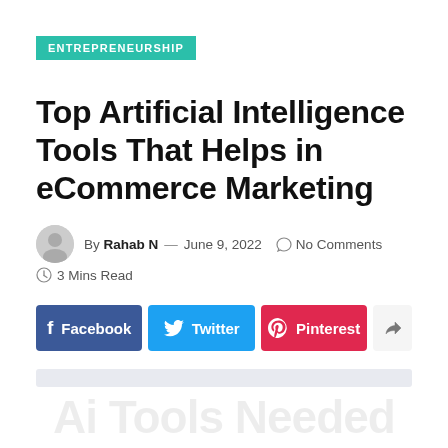ENTREPRENEURSHIP
Top Artificial Intelligence Tools That Helps in eCommerce Marketing
By Rahab N — June 9, 2022   No Comments
3 Mins Read
[Figure (infographic): Social share buttons: Facebook, Twitter, Pinterest, and a generic share button]
Ai Tools Needed